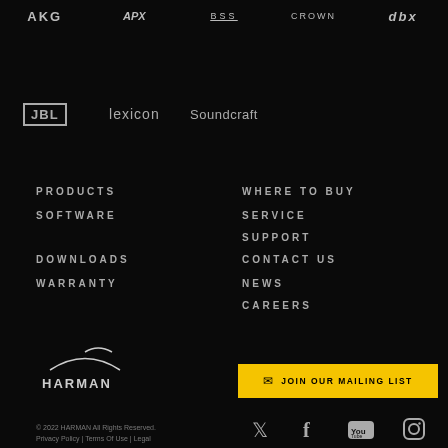[Figure (logo): Brand logos row 1: AKG, APX, BSS, Crown, dbx]
[Figure (logo): Brand logos row 2: JBL, Lexicon, Soundcraft]
PRODUCTS
SOFTWARE
DOWNLOADS
WARRANTY
WHERE TO BUY
SERVICE
SUPPORT
CONTACT US
NEWS
CAREERS
[Figure (logo): HARMAN logo with arc swoosh above text]
© 2022 HARMAN All Rights Reserved.
Privacy Policy | Terms Of Use | Legal
[Figure (infographic): JOIN OUR MAILING LIST button in yellow]
[Figure (infographic): Social media icons: Twitter, Facebook, YouTube, Instagram]